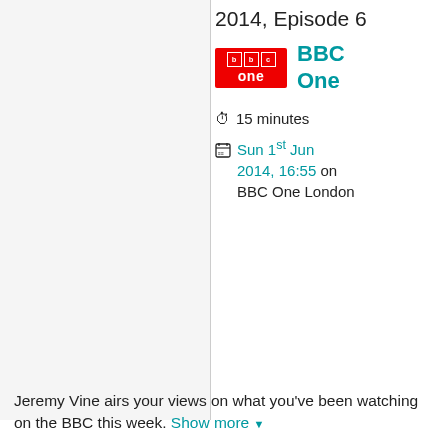2014, Episode 6
[Figure (logo): BBC One red logo with white 'bbc' boxes and 'one' text]
BBC One
15 minutes
Sun 1st Jun 2014, 16:55 on BBC One London
Jeremy Vine airs your views on what you've been watching on the BBC this week. Show more
Contributors
Presenter: Jeremy Vine
Series Producer: Gemma Cunningham
Executive Producer: Paul Connolly
Genres
Factual
Brand
Points of View